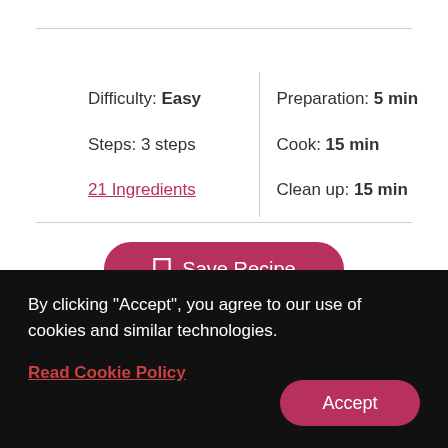| Difficulty: Easy | Preparation: 5 min |
| Steps: 3 steps | Cook: 15 min |
| 21 Ingredients | Clean up: 15 min |
Save Recipe
Share This Recipe:
[Figure (illustration): Social share icons: Facebook (blue circle with f), Twitter (light blue circle with bird), Email (grey circle with envelope), Link (grey circle with chain link)]
By clicking "Accept", you agree to our use of cookies and similar technologies.
Read Cookie Policy
Accept